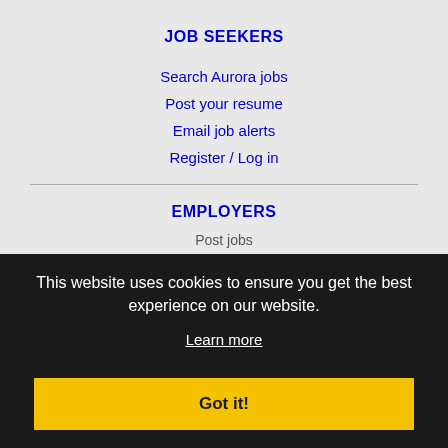JOB SEEKERS
Search Aurora jobs
Post your resume
Email job alerts
Register / Log in
EMPLOYERS
Post jobs
IMMIGRATION SPECIALISTS
Post jobs
This website uses cookies to ensure you get the best experience on our website.
Learn more
Got it!